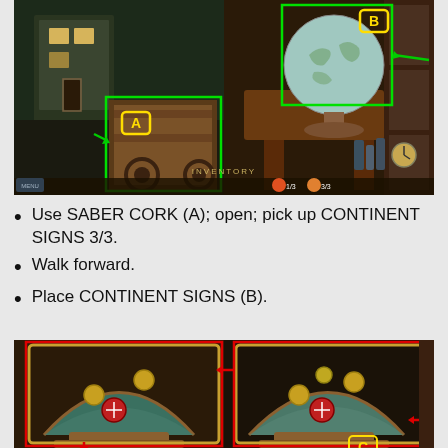[Figure (screenshot): Game screenshot showing a dark steampunk scene with a wooden cart/wagon highlighted with a green rectangle labeled A (yellow), and a globe/map area highlighted with a green rectangle labeled B (yellow). Green arrows point to the highlighted areas.]
Use SABER CORK (A); open; pick up CONTINENT SIGNS 3/3.
Walk forward.
Place CONTINENT SIGNS (B).
[Figure (screenshot): Game screenshot showing a globe/orrery puzzle with continent sign tokens being placed. Red rectangles highlight interactive areas. A red arrow points to placement locations. Label C visible at bottom.]